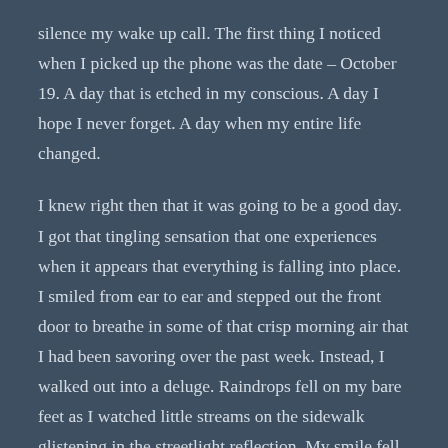silence my wake up call. The first thing I noticed when I picked up the phone was the date – October 19. A day that is etched in my conscious. A day I hope I never forget. A day when my entire life changed.
I knew right then that it was going to be a good day. I got that tingling sensation that one experiences when it appears that everything is falling into place. I smiled from ear to ear and stepped out the front door to breathe in some of that crisp morning air that I had been savoring over the past week. Instead, I walked out into a deluge. Raindrops fell on my bare feet as I watched little streams on the sidewalk glistening in the streetlight reflection. My smile fell. But only a little. “Maybe it will stop” I thought to myself. There were still two hours until race start. That could be plenty of time for